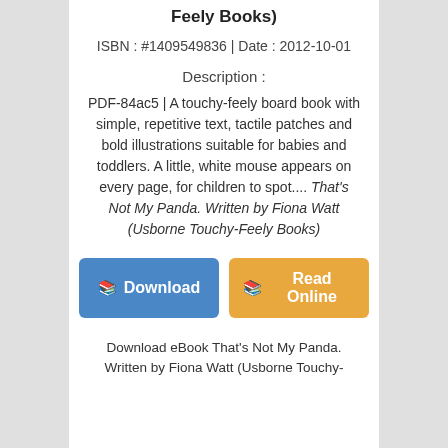Feely Books)
ISBN : #1409549836 | Date : 2012-10-01
Description :
PDF-84ac5 | A touchy-feely board book with simple, repetitive text, tactile patches and bold illustrations suitable for babies and toddlers. A little, white mouse appears on every page, for children to spot.... That's Not My Panda. Written by Fiona Watt (Usborne Touchy-Feely Books)
Download eBook That's Not My Panda. Written by Fiona Watt (Usborne Touchy-